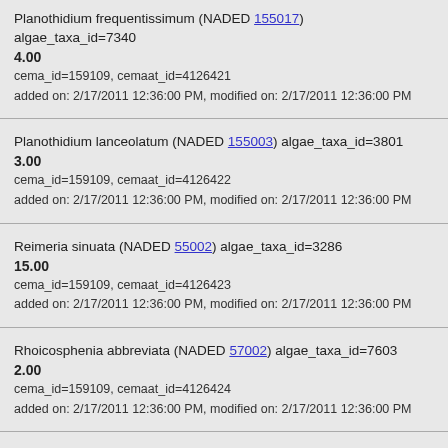Planothidium frequentissimum (NADED 155017) algae_taxa_id=7340
4.00
cema_id=159109, cemaat_id=4126421
added on: 2/17/2011 12:36:00 PM, modified on: 2/17/2011 12:36:00 PM
Planothidium lanceolatum (NADED 155003) algae_taxa_id=3801
3.00
cema_id=159109, cemaat_id=4126422
added on: 2/17/2011 12:36:00 PM, modified on: 2/17/2011 12:36:00 PM
Reimeria sinuata (NADED 55002) algae_taxa_id=3286
15.00
cema_id=159109, cemaat_id=4126423
added on: 2/17/2011 12:36:00 PM, modified on: 2/17/2011 12:36:00 PM
Rhoicosphenia abbreviata (NADED 57002) algae_taxa_id=7603
2.00
cema_id=159109, cemaat_id=4126424
added on: 2/17/2011 12:36:00 PM, modified on: 2/17/2011 12:36:00 PM